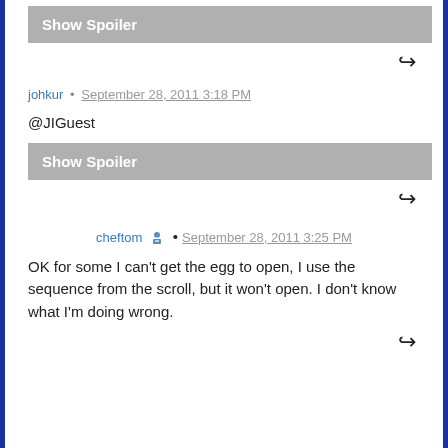[Figure (other): Show Spoiler button (gray background, white bold text)]
↩ (reply icon)
johkur • September 28, 2011 3:18 PM
@JIGuest
[Figure (other): Show Spoiler button (gray background, white bold text)]
↩ (reply icon)
cheftom 🔧 • September 28, 2011 3:25 PM
OK for some I can't get the egg to open, I use the sequence from the scroll, but it won't open. I don't know what I'm doing wrong.
↩ (reply icon)